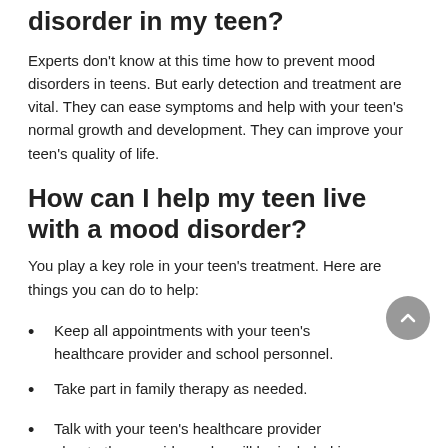disorder in my teen?
Experts don't know at this time how to prevent mood disorders in teens. But early detection and treatment are vital. They can ease symptoms and help with your teen's normal growth and development. They can improve your teen's quality of life.
How can I help my teen live with a mood disorder?
You play a key role in your teen's treatment. Here are things you can do to help:
Keep all appointments with your teen's healthcare provider and school personnel.
Take part in family therapy as needed.
Talk with your teen's healthcare provider about other providers who will be included in your teen's care. Your